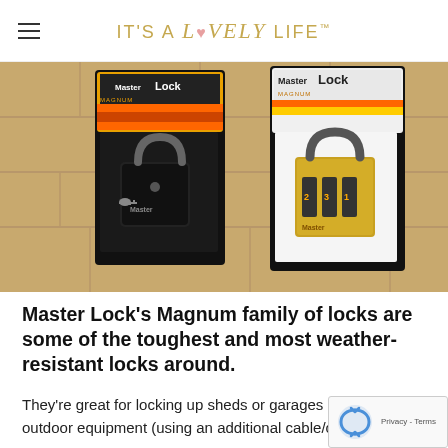IT'S A Lovely LIFE
[Figure (photo): Two Master Lock Magnum padlocks in packaging, placed on a stone/brick surface. Left lock is a keyed black padlock; right lock is a combination brass padlock. Both are in retail blister packaging with yellow/orange/black branding.]
Master Lock's Magnum family of locks are some of the toughest and most weather-resistant locks around.
They're great for locking up sheds or garages or locking outdoor equipment (using an additional cable/chain) w...